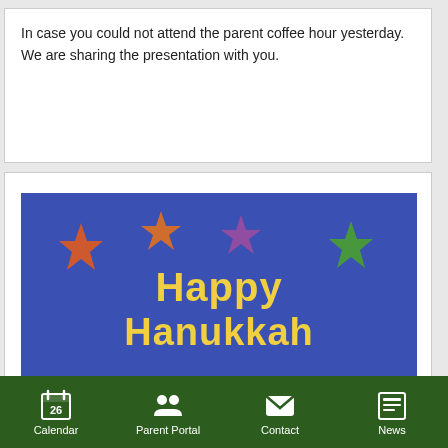In case you could not attend the parent coffee hour yesterday. We are sharing the presentation with you.
[Figure (illustration): Happy Hanukkah greeting card illustration with a colorful menorah with lit candles, Star of David, and decorative stars on a blue background.]
Calendar  Parent Portal  Contact  News